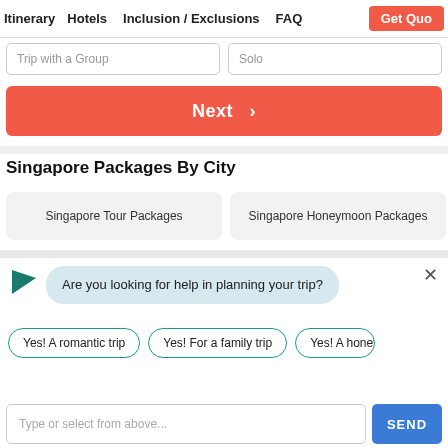Itinerary   Hotels   Inclusion / Exclusions   FAQ   Get Quo
Trip with a Group   Solo
Next >
Singapore Packages By City
Singapore Tour Packages
Singapore Honeymoon Packages
Are you looking for help in planning your trip?
Yes! A romantic trip
Yes! For a family trip
Yes! A honey
Type or select from above...
SEND